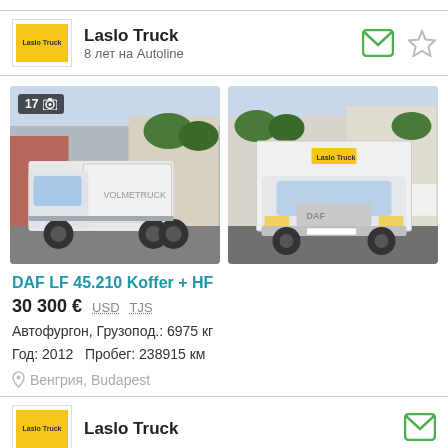Laslo Truck
8 лет на Autoline
[Figure (photo): Two white DAF LF trucks parked in a lot. Left image shows side/front view with photo count badge '17'. Right image shows front view of same model trucks.]
DAF LF 45.210 Koffer + HF
30 300 €  USD  TJS
Автофургон, Грузопод.: 6975 кг
Год: 2012   Пробег: 238915 км
Венгрия, Budapest
Laslo Truck